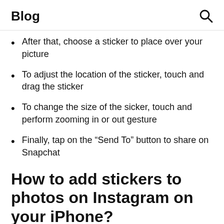Blog
After that, choose a sticker to place over your picture
To adjust the location of the sticker, touch and drag the sticker
To change the size of the sicker, touch and perform zooming in or out gesture
Finally, tap on the “Send To” button to share on Snapchat
How to add stickers to photos on Instagram on your iPhone?
Make your Instagram stories fun and interesting by adding stickers and text to your pictures. To add